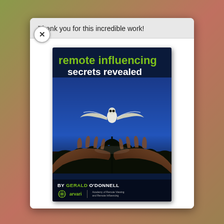Thank you for this incredible work!
[Figure (photo): Book cover for 'remote influencing secrets revealed' by Gerald O'Donnell, published by Arvari (Academy of Remote Viewing and Remote Influencing). Dark blue/black background showing two cupped hands with a white bird (owl) taking flight above them, with a tree silhouette. Title text in green and white bold fonts. Author byline in white with green highlight.]